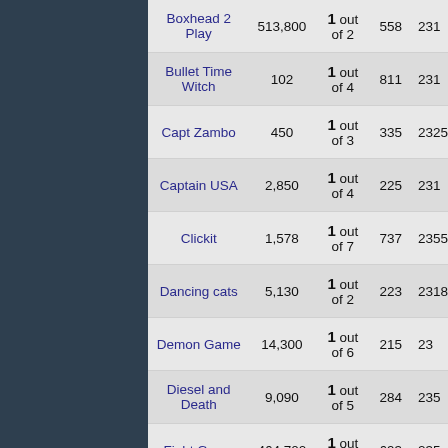| Game Name | Score | Level | Plays | ID |
| --- | --- | --- | --- | --- |
| Boxhead 2 Play | 513,800 | 1 out of 2 | 558 | 231 |
| Bullet Time Witch | 102 | 1 out of 4 | 811 | 231 |
| Capt Zambo | 450 | 1 out of 3 | 335 | 2325 |
| Captain USA | 2,850 | 1 out of 4 | 225 | 231 |
| Clickit | 1,578 | 1 out of 7 | 737 | 2355 |
| Dancing cats | 5,130 | 1 out of 2 | 223 | 2318 |
| Demon Game | 14,300 | 1 out of 6 | 215 | 23 |
| Diesel and Death | 9,090 | 1 out of 5 | 284 | 235 |
| Fight Game | 464,700 | 1 out of 2 | 693 | 235 |
| Galaxy Invaders | 13,139 | 1 out of 4 | 339 | 232 |
| Gangnam Run | 516,518 | 1 out of 4 | 289 | 23 |
| Go Go Santa | 227,360 | 1 out of 5 | 429 | 2355 |